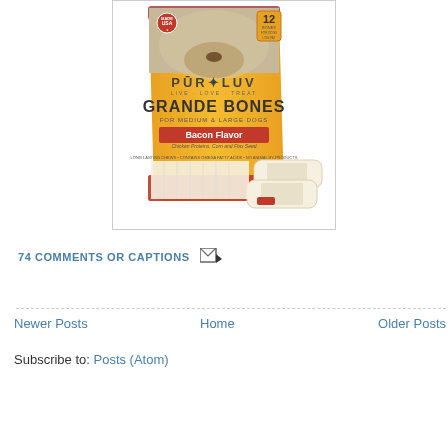[Figure (photo): Pur Luv Grande Bones dog treat package, Bacon Flavor, for medium and large dogs, 12 bones, Made in USA, shown with two bone treats outside the orange bag]
74 COMMENTS OR CAPTIONS
Newer Posts
Home
Older Posts
Subscribe to: Posts (Atom)